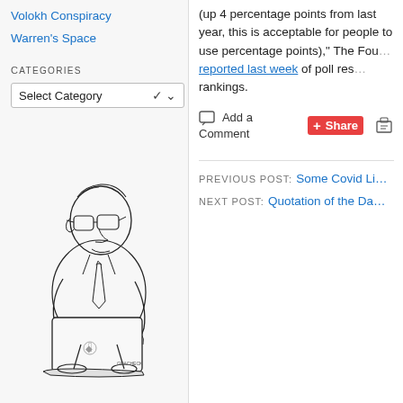Volokh Conspiracy
Warren's Space
Categories
Select Category
[Figure (illustration): Caricature illustration of a man with glasses typing on an Apple laptop computer, sitting hunched over. Black and white ink drawing, signed by artist (Gracheck or similar).]
(up 4 percentage points from last year, this is acceptable for people to use percentage points)," The Foundation reported last week of poll results and rankings.
Add a Comment  Share  [print icon]
PREVIOUS POST: Some Covid Li...
NEXT POST: Quotation of the Da...